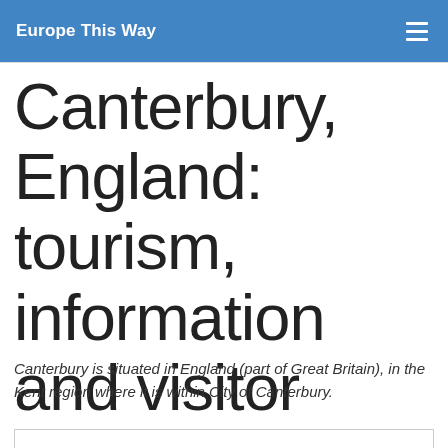Europe This Way
Canterbury, England: tourism, information and visitor reviews
Canterbury is situated in England (part of Great Britain), in the Kent region where it is within City of Canterbury.